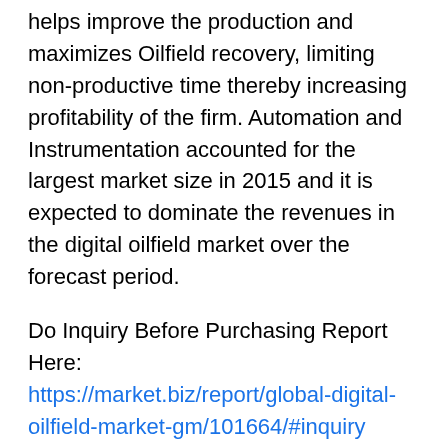helps improve the production and maximizes Oilfield recovery, limiting non-productive time thereby increasing profitability of the firm. Automation and Instrumentation accounted for the largest market size in 2015 and it is expected to dominate the revenues in the digital oilfield market over the forecast period.
Do Inquiry Before Purchasing Report Here: https://market.biz/report/global-digital-oilfield-market-gm/101664/#inquiry
Global Digital Oilfield Market is expected to grow at a CAGR between 4.0% and 4.5% over the Forecast period 2016 to 2022. It is was worth USD 24.60 billion in 2014. Digital oilfields refer to the digital platforms and for many other well-known types of